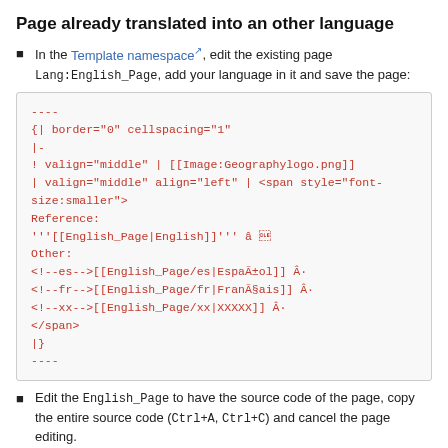Page already translated into an other language
In the Template namespace, edit the existing page Lang:English_Page, add your language in it and save the page:
----
{| border="0" cellspacing="1"
|-
! valign="middle" | [[Image:Geographylogo.png]]
| valign="middle" align="left" | <span style="font-size:smaller">
Reference:
'''[[English_Page|English]]''' â
Other:
<!--es-->[[English_Page/es|Español]] Â·
<!--fr-->[[English_Page/fr|Français]] Â·
<!--xx-->[[English_Page/xx|XXXXX]] Â·
</span>
|}
----
Edit the English_Page to have the source code of the page, copy the entire source code (Ctrl+A, Ctrl+C) and cancel the page editing.
Start editing the page in your language (English_Page/xx), paste the source code (Ctrl+V) and then translate the page.